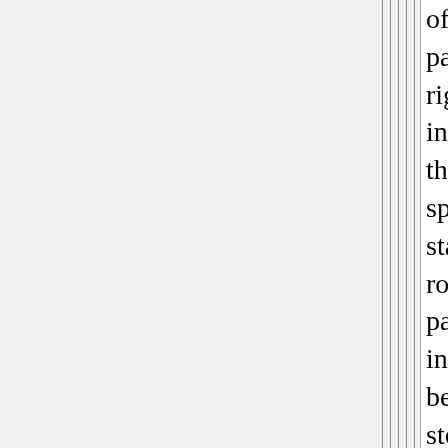of ground parking spaces right now, and include thousands of spaces of standardized robotic parking garage in their place, below tens of stories of apartments/c Robotic parking could potentially be several times